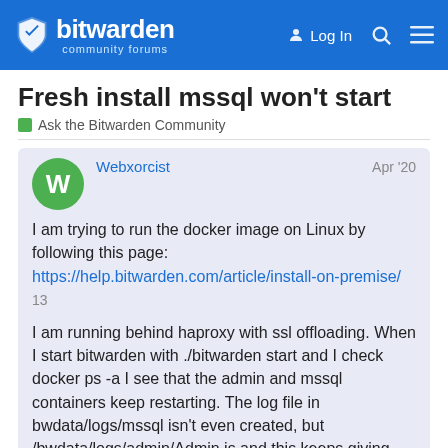bitwarden community forums — Log In
Fresh install mssql won't start
Ask the Bitwarden Community
Webxorcist  Apr '20
I am trying to run the docker image on Linux by following this page: https://help.bitwarden.com/article/install-on-premise/  13

I am running behind haproxy with ssl offloading. When I start bitwarden with ./bitwarden start and I check docker ps -a I see that the admin and mssql containers keep restarting. The log file in bwdata/logs/mssql isn't even created, but /bwdata/logs/admin/Admin is and this keeps giving the next output:
2020-04-03 13:11:31.769 +00:00 [Information] Mi
2020-04-03 13:12:01.416 +00:00 [Error] Database